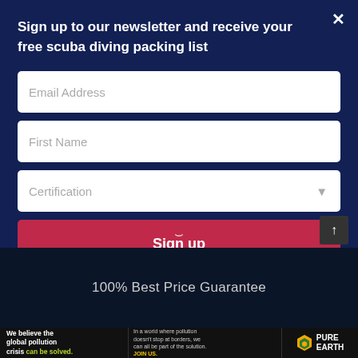Sign up to our newsletter and receive your free scuba diving packing list
Email Address
First Name
Certification
Sign up
100% Best Price Guarantee
We believe the global pollution crisis can be solved. In a world where pollution doesn't stop at borders, we can all be part of the solution. JOIN US. PURE EARTH